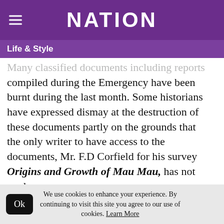NATION
Life & Style
Many classified documents including reports compiled during the Emergency have been burnt during the last month. Some historians have expressed dismay at the destruction of these documents partly on the grounds that the only writer to have access to the documents, Mr. F.D Corfield for his survey Origins and Growth of Mau Mau, has not made the best historical use of them. Mr. T. Neil, the Administrative Secretary in the Chief
We use cookies to enhance your experience. By continuing to visit this site you agree to our use of cookies. Learn More